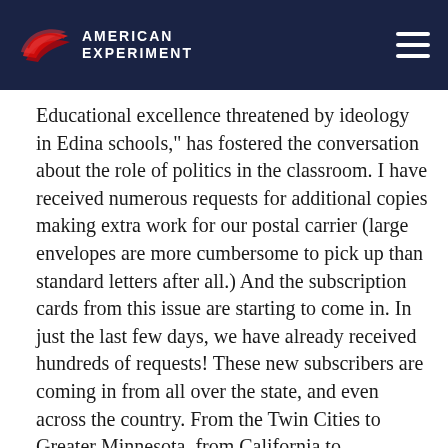American Experiment
Educational excellence threatened by ideology in Edina schools," has fostered the conversation about the role of politics in the classroom. I have received numerous requests for additional copies making extra work for our postal carrier (large envelopes are more cumbersome to pick up than standard letters after all.) And the subscription cards from this issue are starting to come in. In just the last few days, we have already received hundreds of requests! These new subscribers are coming in from all over the state, and even across the country. From the Twin Cities to Greater Minnesota, from California to Pennsylvania, folks can't get enough of Thinking Minnesota.  And of course a lot of subscription requests are coming from Edina, where every household received a